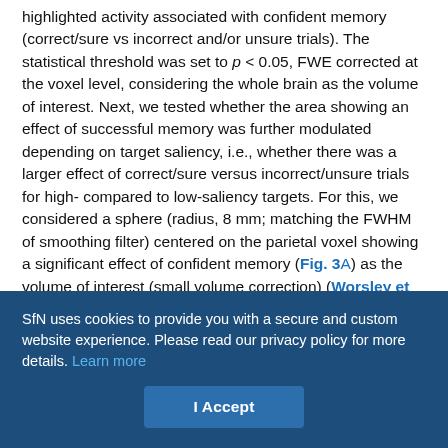highlighted activity associated with confident memory (correct/sure vs incorrect and/or unsure trials). The statistical threshold was set to p < 0.05, FWE corrected at the voxel level, considering the whole brain as the volume of interest. Next, we tested whether the area showing an effect of successful memory was further modulated depending on target saliency, i.e., whether there was a larger effect of correct/sure versus incorrect/unsure trials for high- compared to low-saliency targets. For this, we considered a sphere (radius, 8 mm; matching the FWHM of smoothing filter) centered on the parietal voxel showing a significant effect of confident memory (Fig. 3A) as the volume of interest (small volume correction) (Worsley et al., 1996).
SfN uses cookies to provide you with a secure and custom website experience. Please read our privacy policy for more details. Learn more